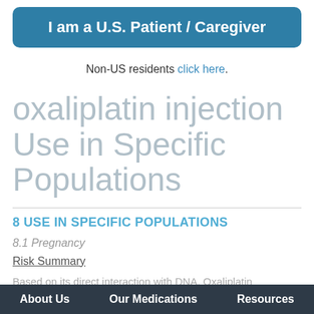I am a U.S. Patient / Caregiver
Non-US residents click here.
oxaliplatin injection Use in Specific Populations
8 USE IN SPECIFIC POPULATIONS
8.1 Pregnancy
Risk Summary
Based on its direct interaction with DNA, Oxaliplatin
About Us   Our Medications   Resources